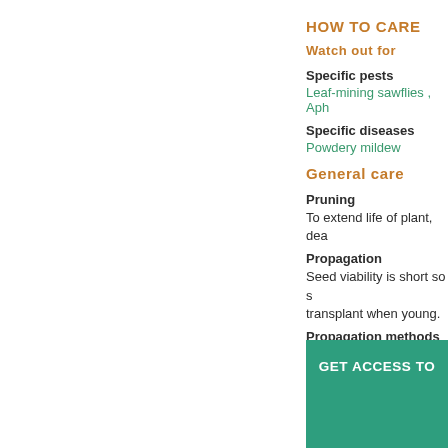HOW TO CARE
Watch out for
Specific pests
Leaf-mining sawflies , Aph
Specific diseases
Powdery mildew
General care
Pruning
To extend life of plant, dea
Propagation
Seed viability is short so s transplant when young.
Propagation methods
Seed
MONTHLY CARE A
GET ACCESS TO